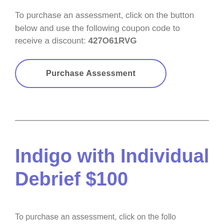To purchase an assessment, click on the button below and use the following coupon code to receive a discount: 427O61RVG
[Figure (other): Button labeled 'Purchase Assessment' with purple rounded border]
Indigo with Individual Debrief $100
To purchase an assessment, click on the button below and use the following coupon code to receive a discount: 427O61RVG